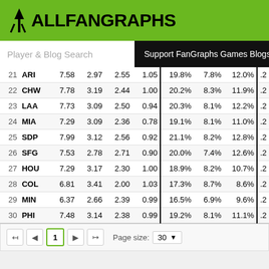[Figure (logo): FanGraphs logo on green background]
Player & Blog Search  |  Support FanGraphs Games Blogs Projectio...
| # | Team | Col3 | Col4 | Col5 | Col6 | Col7 | Col8 | Col9 | Col10 |
| --- | --- | --- | --- | --- | --- | --- | --- | --- | --- |
| 21 | ARI | 7.58 | 2.97 | 2.55 | 1.05 | 19.8% | 7.8% | 12.0% | .2 |
| 22 | CHW | 7.78 | 3.19 | 2.44 | 1.00 | 20.2% | 8.3% | 11.9% | .2 |
| 23 | LAA | 7.73 | 3.09 | 2.50 | 0.94 | 20.3% | 8.1% | 12.2% | .2 |
| 24 | MIA | 7.29 | 3.09 | 2.36 | 0.78 | 19.1% | 8.1% | 11.0% | .2 |
| 25 | SDP | 7.99 | 3.12 | 2.56 | 0.92 | 21.1% | 8.2% | 12.8% | .2 |
| 26 | SFG | 7.53 | 2.78 | 2.71 | 0.90 | 20.0% | 7.4% | 12.6% | .2 |
| 27 | HOU | 7.29 | 3.17 | 2.30 | 1.00 | 18.9% | 8.2% | 10.7% | .2 |
| 28 | COL | 6.81 | 3.41 | 2.00 | 1.03 | 17.3% | 8.7% | 8.6% | .2 |
| 29 | MIN | 6.37 | 2.66 | 2.39 | 0.99 | 16.5% | 6.9% | 9.6% | .2 |
| 30 | PHI | 7.48 | 3.14 | 2.38 | 0.99 | 19.2% | 8.1% | 11.1% | .2 |
Page size: 30  |  Page 1